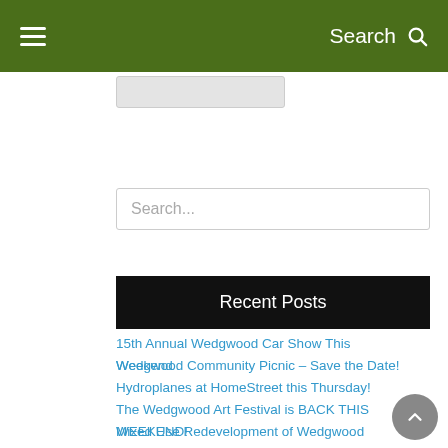Search
[Figure (screenshot): Light gray rectangular button/tab element near top of page]
Search...
Recent Posts
15th Annual Wedgwood Car Show This Weekend
Wedgwood Community Picnic – Save the Date!
Hydroplanes at HomeStreet this Thursday!
The Wedgwood Art Festival is BACK THIS WEEKEND!
Mixed Use Redevelopment of Wedgwood Center Proposed